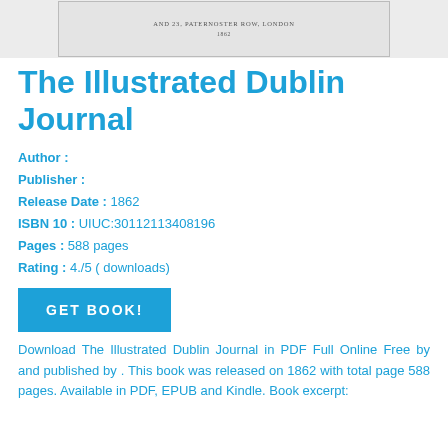[Figure (photo): Scanned book cover or title page image showing partial text: 'AND 23, PATERNOSTER ROW, LONDON' and publication year '1862']
The Illustrated Dublin Journal
Author :
Publisher :
Release Date : 1862
ISBN 10 : UIUC:30112113408196
Pages : 588 pages
Rating : 4./5 ( downloads)
[Figure (other): GET BOOK! button]
Download The Illustrated Dublin Journal in PDF Full Online Free by and published by . This book was released on 1862 with total page 588 pages. Available in PDF, EPUB and Kindle. Book excerpt: